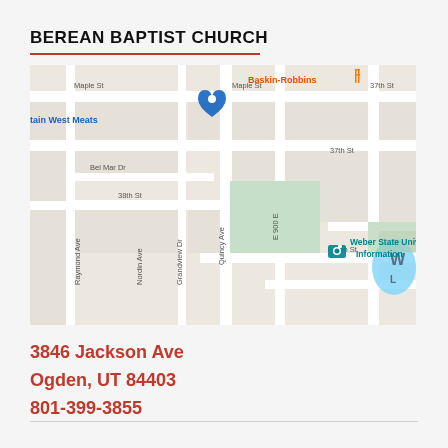BEREAN BAPTIST CHURCH
[Figure (map): Google Maps screenshot showing the area around 3846 Jackson Ave, Ogden, UT 84403, near Weber State University. Shows street labels including Maple St, 37th St, 38th St, 39th St, Bel Mar Dr, Raymond Ave, Nordin Ave, Grandview Dr, Quincy Ave, E 3950 S, 3850 S St. Points of interest include Baskin-Robbins, Harrison Heights Apartments, Mountain West Meats, Weber State University Information.]
3846 Jackson Ave
Ogden, UT 84403
801-399-3855